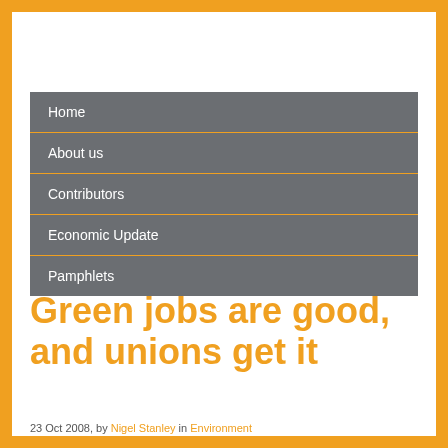Home
About us
Contributors
Economic Update
Pamphlets
Green jobs are good, and unions get it
23 Oct 2008, by Nigel Stanley in Environment